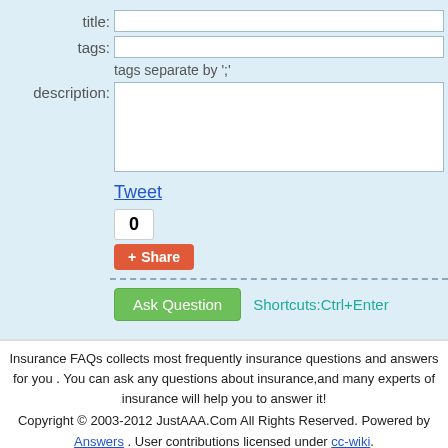title: [input field]
tags: [input field]
tags separate by ';'
description: [textarea]
Tweet
0
Share
Ask Question   Shortcuts:Ctrl+Enter
Insurance FAQs collects most frequently insurance questions and answers for you . You can ask any questions about insurance,and many experts of insurance will help you to answer it!
Copyright © 2003-2012 JustAAA.Com All Rights Reserved. Powered by Answers . User contributions licensed under cc-wiki.
Donate